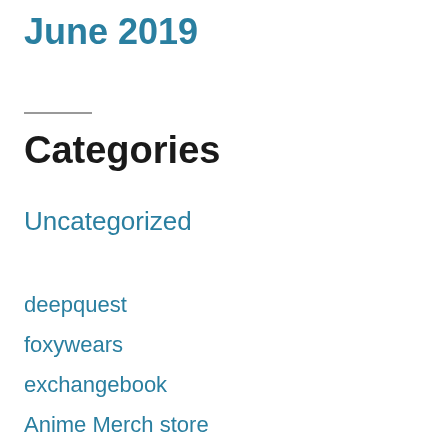June 2019
Categories
Uncategorized
deepquest
foxywears
exchangebook
Anime Merch store